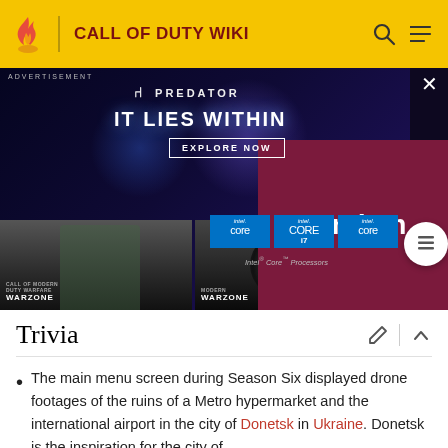CALL OF DUTY WIKI
[Figure (screenshot): Acer Predator advertisement overlay with 'IT LIES WITHIN' headline, Intel Core processor badges, Fandom branding panel on right, and Call of Duty Warzone screenshots underneath]
Trivia
The main menu screen during Season Six displayed drone footages of the ruins of a Metro hypermarket and the international airport in the city of Donetsk in Ukraine. Donetsk is the inspiration for the city of